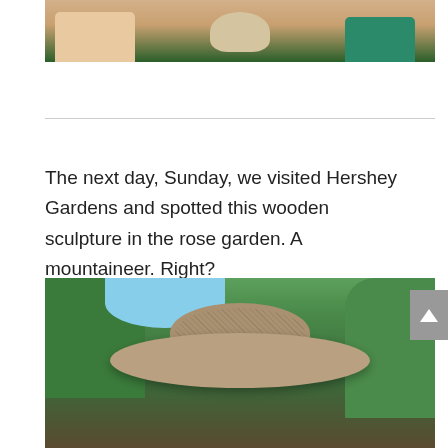[Figure (photo): Partial photo showing two people's hands holding something, cropped at top of page. One person wearing cream/white sleeve, another in teal top.]
The next day, Sunday, we visited Hershey Gardens and spotted this wooden sculpture in the rose garden. A mountaineer. Right?
[Figure (photo): Low-angle photograph of a wooden sculpture wearing a wide-brimmed cowboy/mountaineer hat, with green trees and blue sky visible in the background.]